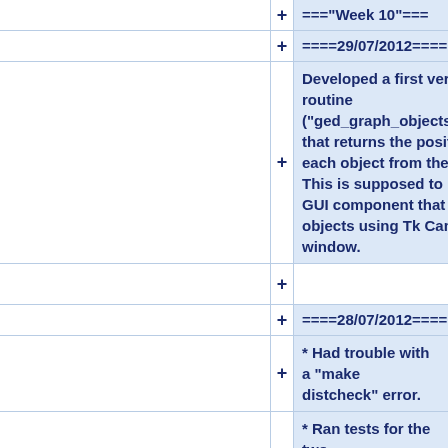==="Week 10"===
====29/07/2012====
Developed a first version of a routine ("ged_graph_objects_positions") that returns the positions for each object from the database. This is supposed to be used by a GUI component that draws the objects using Tk Canvas inside a window.
====28/07/2012====
* Had trouble with a "make distcheck" error.
* Ran tests for the two